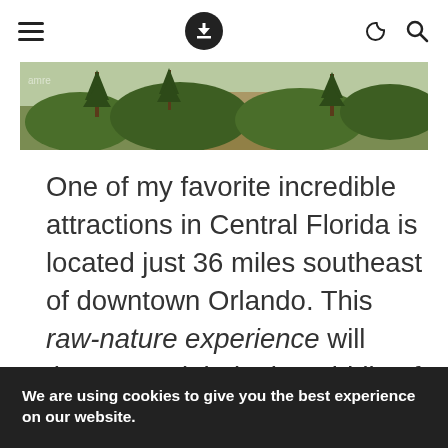≡  ↓  ☽  🔍
[Figure (photo): Landscape photo of Florida nature scene with green shrubs, pine trees, and brownish vegetation under a light sky]
One of my favorite incredible attractions in Central Florida is located just 36 miles southeast of downtown Orlando. This raw-nature experience will throw you right in the middle of Florida's vast assortment of wildlife.
We are using cookies to give you the best experience on our website.